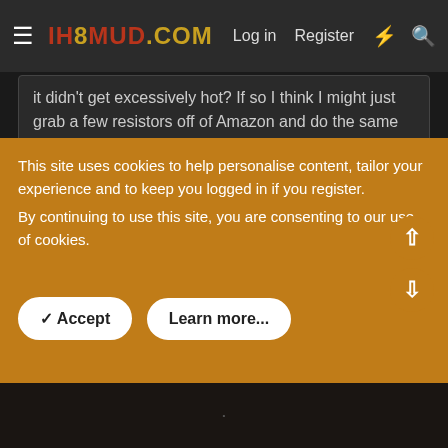IH8MUD.COM   Log in   Register
it didn't get excessively hot? If so I think I might just grab a few resistors off of Amazon and do the same thing.
yes I wasted a ton of time grinding. I can't say if they are getting hot since I haven't checked them. I'm not 100% certain of how the module works, but it makes sense to me that they only see current when the turn signals are activated, so heat won't really be an issue in the module. Also some weird reason my hazards don't work now. I know hazards are on a separate circuit. not going to investigate that one much further
This site uses cookies to help personalise content, tailor your experience and to keep you logged in if you register.
By continuing to use this site, you are consenting to our use of cookies.
✓ Accept   Learn more...